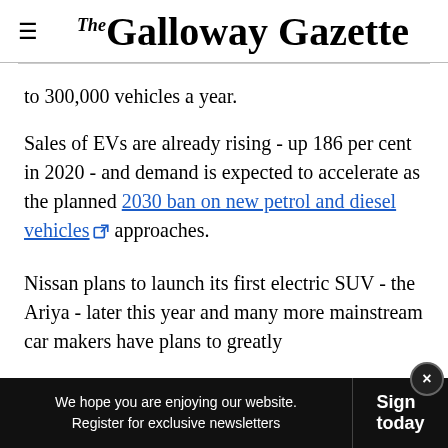The Galloway Gazette
to 300,000 vehicles a year.
Sales of EVs are already rising - up 186 per cent in 2020 - and demand is expected to accelerate as the planned 2030 ban on new petrol and diesel vehicles approaches.
Nissan plans to launch its first electric SUV - the Ariya - later this year and many more mainstream car makers have plans to greatly
We hope you are enjoying our website. Register for exclusive newsletters  Sign today